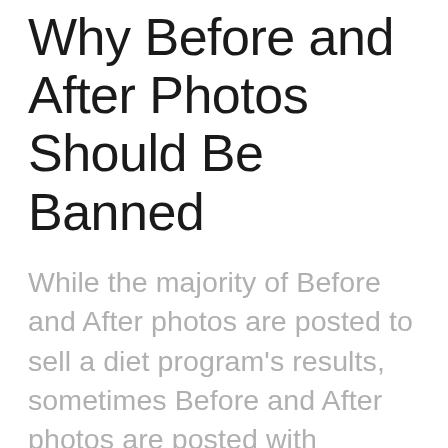Why Before and After Photos Should Be Banned
While the majority of Before and After photos are posted to sell a diet program's results, sometimes Before and After photos are posted with relatively good intentions. Someone set a goal for their body and they're celebrating progress towards their appearance goals. In either case, the intentions don't actually matter because Before and